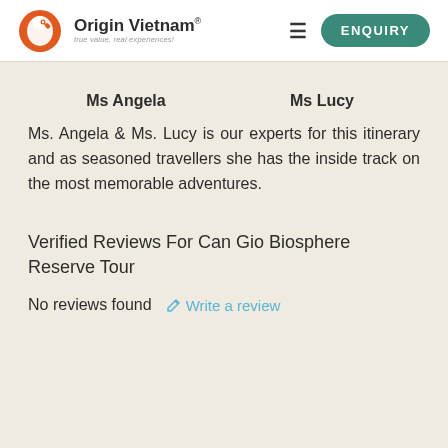[Figure (logo): Origin Vietnam logo with orange bird icon and tagline 'true value, real experiences!']
ENQUIRY
Ms Angela	Ms Lucy
Ms. Angela & Ms. Lucy is our experts for this itinerary and as seasoned travellers she has the inside track on the most memorable adventures.
Verified Reviews For Can Gio Biosphere Reserve Tour
No reviews found
Write a review